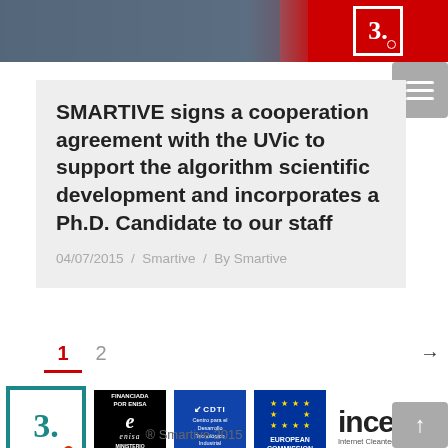[Figure (photo): Top banner image showing a person wearing a t-shirt, with red branding bar on right containing Smartive logo [3.]]
SMARTIVE signs a cooperation agreement with the UVic to support the algorithm scientific development and incorporates a Ph.D. Candidate to our staff
04/07/2015 / Smartive / By Smartive
1  2  →
[Figure (logo): Footer logos: Smartive [3.] logo, ENISA Financiada por ENISA - Ministerio de Industria Energia y Turismo logo, CDTI Centro para el Desarrollo Tecnologico Industrial logo, European Commission logo, INCE Internet Cleantec logo]
® Smartive 2015